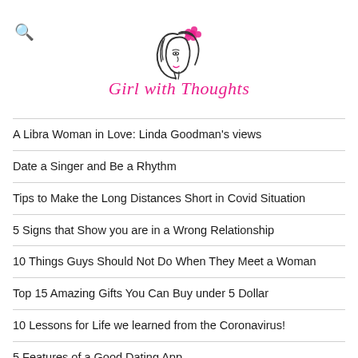[Figure (logo): Girl with Thoughts blog logo — a line-art illustration of a woman's face in profile with a pink flower in her hair, and the script text 'Girl with Thoughts' in pink below]
A Libra Woman in Love: Linda Goodman's views
Date a Singer and Be a Rhythm
Tips to Make the Long Distances Short in Covid Situation
5 Signs that Show you are in a Wrong Relationship
10 Things Guys Should Not Do When They Meet a Woman
Top 15 Amazing Gifts You Can Buy under 5 Dollar
10 Lessons for Life we learned from the Coronavirus!
5 Features of a Good Dating App